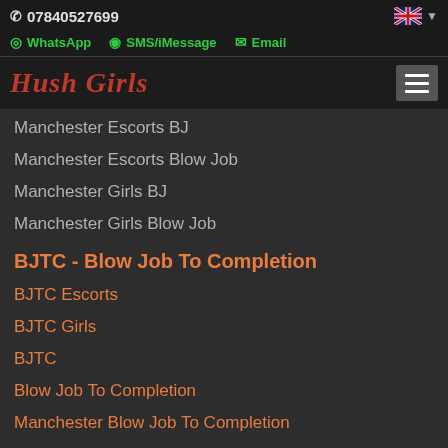07840527699
WhatsApp  SMS/iMessage  Email
Hush Girls
Manchester Escorts BJ
Manchester Escorts Blow Job
Manchester Girls BJ
Manchester Girls Blow Job
BJTC - Blow Job To Completion
BJTC Escorts
BJTC Girls
BJTC
Blow Job To Completion
Manchester Blow Job To Completion